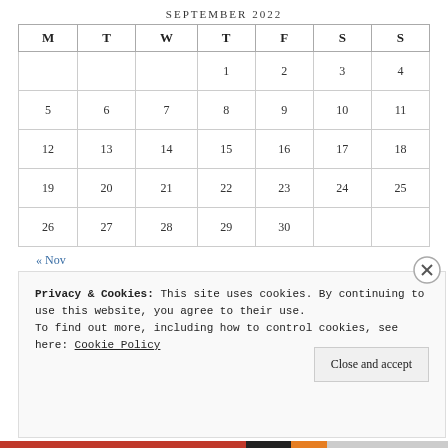SEPTEMBER 2022
| M | T | W | T | F | S | S |
| --- | --- | --- | --- | --- | --- | --- |
|  |  |  | 1 | 2 | 3 | 4 |
| 5 | 6 | 7 | 8 | 9 | 10 | 11 |
| 12 | 13 | 14 | 15 | 16 | 17 | 18 |
| 19 | 20 | 21 | 22 | 23 | 24 | 25 |
| 26 | 27 | 28 | 29 | 30 |  |  |
« Nov
Search
Privacy & Cookies: This site uses cookies. By continuing to use this website, you agree to their use.
To find out more, including how to control cookies, see here: Cookie Policy
Close and accept